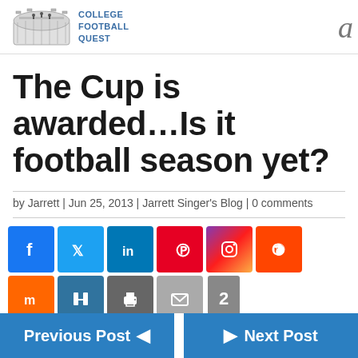College Football Quest
The Cup is awarded…Is it football season yet?
by Jarrett | Jun 25, 2013 | Jarrett Singer's Blog | 0 comments
[Figure (other): Social media share buttons: Facebook, Twitter, LinkedIn, Pinterest, Instagram, Reddit, Mix, Bilibili, Print, Email, Share; counter badge showing 2]
Previous Post | Next Post